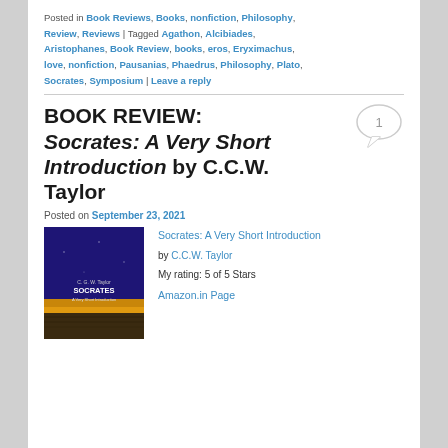Posted in Book Reviews, Books, nonfiction, Philosophy, Review, Reviews | Tagged Agathon, Alcibiades, Aristophanes, Book Review, books, eros, Eryximachus, love, nonfiction, Pausanias, Phaedrus, Philosophy, Plato, Socrates, Symposium | Leave a reply
BOOK REVIEW: Socrates: A Very Short Introduction by C.C.W. Taylor
Posted on September 23, 2021
[Figure (illustration): Book cover of 'Socrates: A Very Short Introduction' by C.G.W. Taylor, showing a dark blue/purple background with golden yellow horizon, Oxford style cover]
Socrates: A Very Short Introduction by C.C.W. Taylor
My rating: 5 of 5 Stars
Amazon.in Page